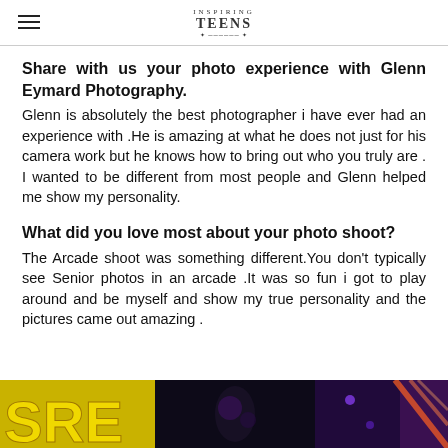INSPIRING TEENS
Share with us your photo experience with Glenn Eymard Photography.
Glenn is absolutely the best photographer i have ever had an experience with .He is amazing at what he does not just for his camera work but he knows how to bring out who you truly are . I wanted to be different from most people and Glenn helped me show my personality.
What did you love most about your photo shoot?
The Arcade shoot was something different.You don't typically see Senior photos in an arcade .It was so fun i got to play around and be myself and show my true personality and the pictures came out amazing .
[Figure (photo): Bottom portion of an arcade photo strip showing colorful arcade signage with yellow letters on the left, a dark middle section, and purple/colorful arcade lights on the right]